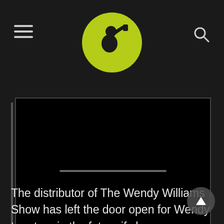Website navigation header with hamburger menu, logo, and search icon
[Figure (screenshot): Black video player with a grey progress/loading bar in the center]
The distributor of The Wendy Williams Show has left the door open for Wendy to return in the future if she recovers and is able and willing to do so. Sherri Shepherd will get all of Wendy's